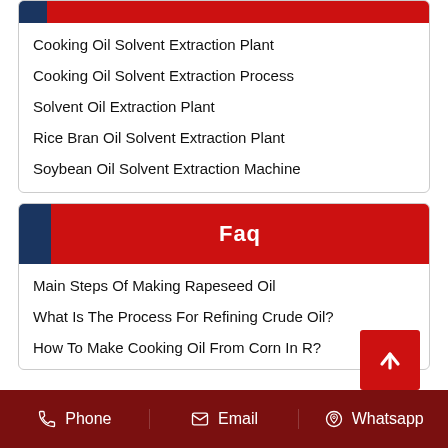Cooking Oil Solvent Extraction Plant
Cooking Oil Solvent Extraction Process
Solvent Oil Extraction Plant
Rice Bran Oil Solvent Extraction Plant
Soybean Oil Solvent Extraction Machine
Faq
Main Steps Of Making Rapeseed Oil
What Is The Process For Refining Crude Oil?
How To Make Cooking Oil From Corn In R...?
Phone  Email  Whatsapp